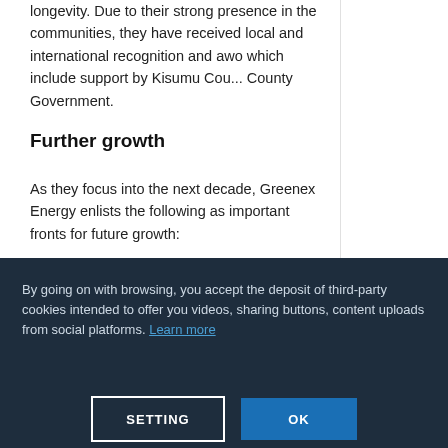longevity. Due to their strong presence in the communities, they have received local and international recognition and awards, which include support by Kisumu County Government.
[Figure (logo): Afriscitech logo with orange circular G icon and orange text 'Afriscitech']
[Figure (illustration): French flag (blue, white, red vertical stripes)]
[Figure (other): Hamburger menu icon (three horizontal lines)]
[Figure (other): User profile silhouette icon]
Further growth
As they focus into the next decade, Greenex Energy enlists the following as important fronts for future growth:
By going on with browsing, you accept the deposit of third-party cookies intended to offer you videos, sharing buttons, content uploads from social platforms. Learn more